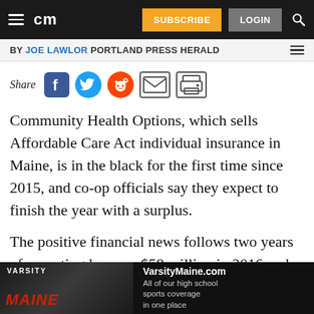cm | SUBSCRIBE | LOGIN
BY JOE LAWLOR PORTLAND PRESS HERALD
Share
Community Health Options, which sells Affordable Care Act individual insurance in Maine, is in the black for the first time since 2015, and co-op officials say they expect to finish the year with a surplus.
The positive financial news follows two years of operating losses – $58 million in 2016 and $21 million in 2015.
[Figure (screenshot): VarsityMaine.com advertisement banner: 'All of our high school sports coverage in one place']